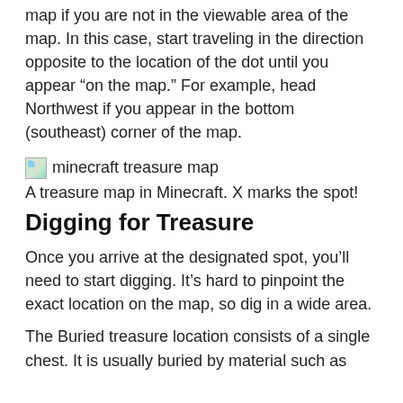map if you are not in the viewable area of the map. In this case, start traveling in the direction opposite to the location of the dot until you appear “on the map.” For example, head Northwest if you appear in the bottom (southeast) corner of the map.
[Figure (photo): Broken image placeholder for a minecraft treasure map image with alt text 'minecraft treasure map']
A treasure map in Minecraft. X marks the spot!
Digging for Treasure
Once you arrive at the designated spot, you’ll need to start digging. It’s hard to pinpoint the exact location on the map, so dig in a wide area.
The Buried treasure location consists of a single chest. It is usually buried by material such as